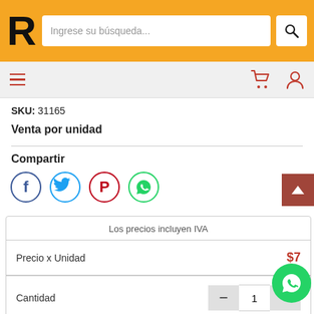[Figure (screenshot): Website header with orange background, bold R logo, search input field with placeholder 'Ingrese su búsqueda...', and search button]
Ingrese su búsqueda...
[Figure (screenshot): Navigation bar with hamburger menu icon (red lines), shopping cart icon and user account icon (both red)]
SKU: 31165
Venta por unidad
Compartir
[Figure (illustration): Social sharing icons: Facebook (blue), Twitter (blue bird), Pinterest (red), WhatsApp (green)]
| Los precios incluyen IVA |
| Precio x Unidad | $7... |
| Cantidad | - | 1 | + |